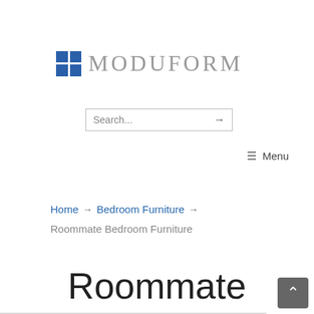[Figure (logo): Moduform logo: a 2x2 blue grid icon followed by the text MODUFORM in large grey serif letters]
[Figure (screenshot): Search input box with placeholder text 'Search...' and a right arrow button]
☰ Menu
Home → Bedroom Furniture →
Roommate Bedroom Furniture
Roommate